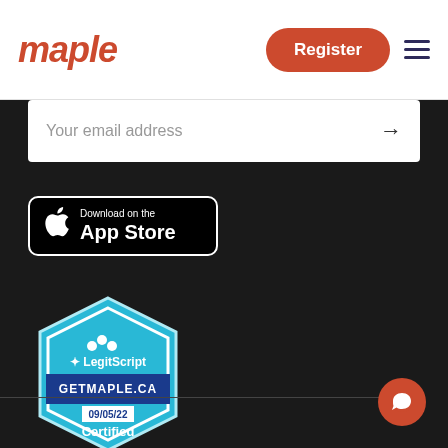maple
Register
Your email address
[Figure (logo): Download on the App Store badge — black rounded rectangle with Apple logo and text 'Download on the App Store']
[Figure (logo): LegitScript certified badge — hexagonal blue badge with LegitScript logo, GETMAPLE.CA, date 09/05/22, and 'Certified' text]